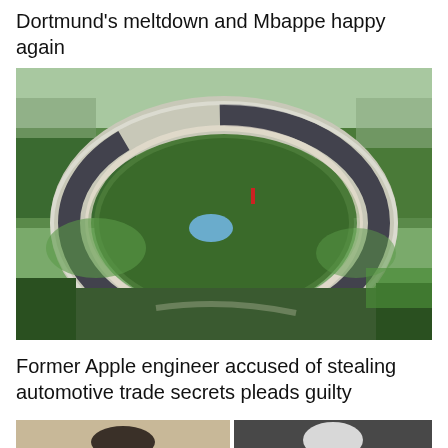Dortmund's meltdown and Mbappe happy again
[Figure (photo): Aerial view of Apple Park headquarters in Cupertino, California – a large circular ring-shaped building surrounded by trees and greenery]
Former Apple engineer accused of stealing automotive trade secrets pleads guilty
[Figure (photo): Portrait of a middle-aged man against a light beige background]
[Figure (photo): Portrait of an older white-haired man against a dark grey background]